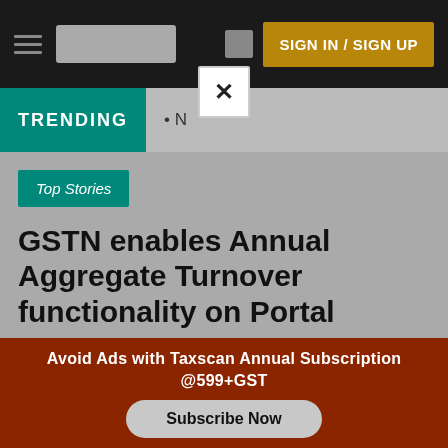SIGN IN / SIGN UP
TRENDING
• N
Top Stories
GSTN enables Annual Aggregate Turnover functionality on Portal
Avoid Ads with Taxscan Annual Subscription @599+GST
Subscribe Now